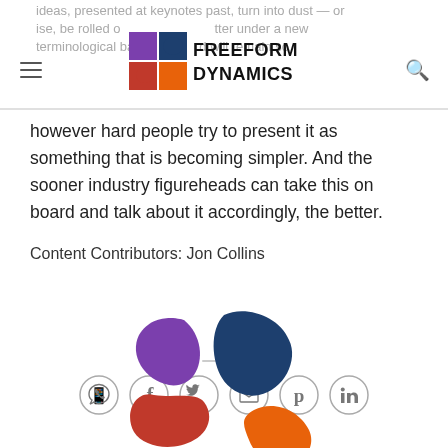ideas, presented at keynotes past, turn into dust — or, ise, be rolled out later under a new terminological banner — and will remain so
however hard people try to present it as something that is becoming simpler. And the sooner industry figureheads can take this on board and talk about it accordingly, the better.
Content Contributors: Jon Collins
[Figure (logo): Freeform Dynamics logo at bottom of page, large version]
[Figure (infographic): Row of social sharing icons: WhatsApp, Facebook, Twitter, Email, Pinterest, LinkedIn — circular outlined icons]